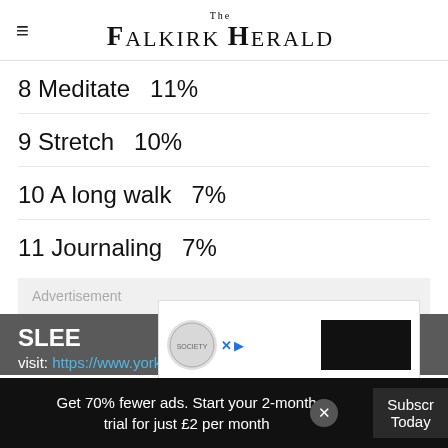The Falkirk Herald
8 Meditate  11%
9 Stretch  10%
10 A long walk  7%
11 Journaling  7%
Advertisement
SLEE
visit: https://www.yorkshireeveningpost.co.uk/hea
Get 70% fewer ads. Start your 2-month trial for just £2 per month
Subscribe Today